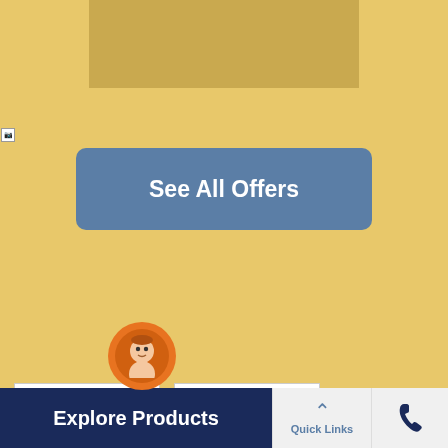[Figure (photo): Top banner with couple on yellow/gold background - insurance promotional banner]
[Figure (other): See All Offers button - blue rounded rectangle with white bold text]
[Figure (photo): Two image placeholder boxes side by side with broken image icons]
Registration Number: 150 | ARN:Advt/2018/March/26 | CIN: U66000MH2010PLC209656
2019 Liberty General Insurance Ltd.
Reg Office: 10th floor, Tower A, Peninsula Business Park, Ganpat Rao Kadam Marg, Lower Parel, Mumbai - 400013
[Figure (illustration): Chatbot/assistant avatar icon - orange circle with face]
Explore Products
Quick Links